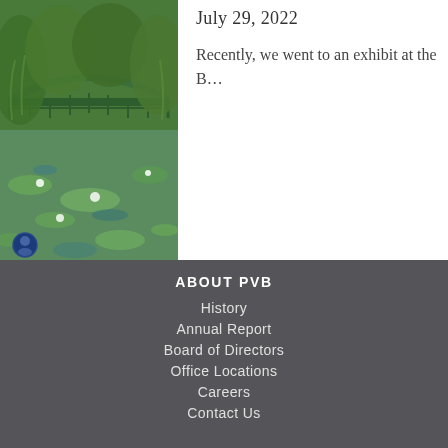[Figure (illustration): Painting of a Japanese-style arched bridge over a pond with water lilies and green foliage, in the style of Monet. A small circular avatar/icon is visible at the bottom-left corner of the image.]
July 29, 2022
Recently, we went to an exhibit at the B…
ABOUT PVB
History
Annual Report
Board of Directors
Office Locations
Careers
Contact Us